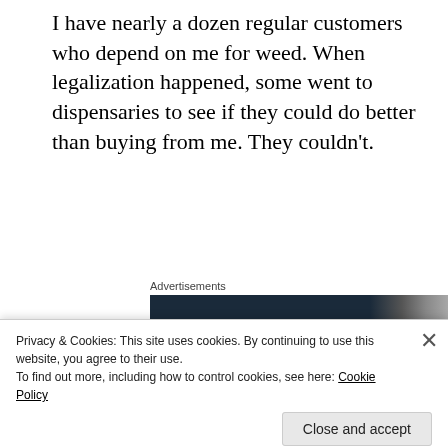I have nearly a dozen regular customers who depend on me for weed. When legalization happened, some went to dispensaries to see if they could do better than buying from me. They couldn't.
[Figure (other): Advertisements banner with dark navy bar and partial image on right side]
One reason they prefer my marijuana menu is I grow cannabis strains and process the strains specifically for each customer. For example, one customer is an athlete
Privacy & Cookies: This site uses cookies. By continuing to use this website, you agree to their use.
To find out more, including how to control cookies, see here: Cookie Policy
Close and accept